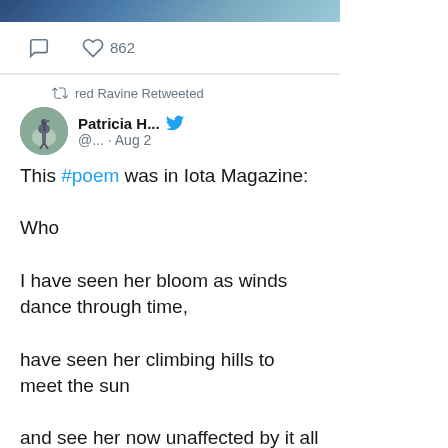[Figure (photo): Top portion of an image showing a blue-green abstract or nature scene (cropped)]
862 (likes)
red Ravine Retweeted
Patricia H... @... · Aug 2
This #poem was in Iota Magazine:

Who

I have seen her bloom as winds dance through time,

have seen her climbing hills to meet the sun

and see her now unaffected by it all